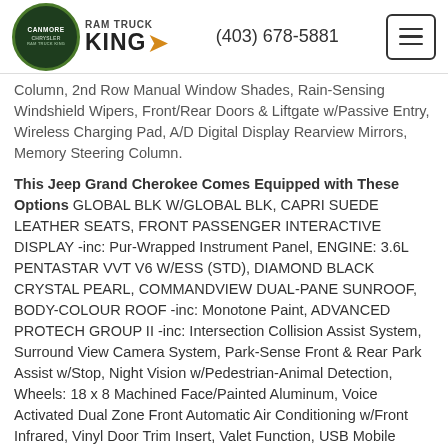Canmore Chrysler Ram Truck King | (403) 678-5881
Column, 2nd Row Manual Window Shades, Rain-Sensing Windshield Wipers, Front/Rear Doors & Liftgate w/Passive Entry, Wireless Charging Pad, A/D Digital Display Rearview Mirrors, Memory Steering Column.
This Jeep Grand Cherokee Comes Equipped with These Options GLOBAL BLK W/GLOBAL BLK, CAPRI SUEDE LEATHER SEATS, FRONT PASSENGER INTERACTIVE DISPLAY -inc: Pur-Wrapped Instrument Panel, ENGINE: 3.6L PENTASTAR VVT V6 W/ESS (STD), DIAMOND BLACK CRYSTAL PEARL, COMMANDVIEW DUAL-PANE SUNROOF, BODY-COLOUR ROOF -inc: Monotone Paint, ADVANCED PROTECH GROUP II -inc: Intersection Collision Assist System, Surround View Camera System, Park-Sense Front & Rear Park Assist w/Stop, Night Vision w/Pedestrian-Animal Detection, Wheels: 18 x 8 Machined Face/Painted Aluminum, Voice Activated Dual Zone Front Automatic Air Conditioning w/Front Infrared, Vinyl Door Trim Insert, Valet Function, USB Mobile Projection, Turn-By-Turn Navigation Directions, Trip Computer, Transmission w/Driver Selectable Mode and Sequential Shift Control w/Steering Wheel Controls.